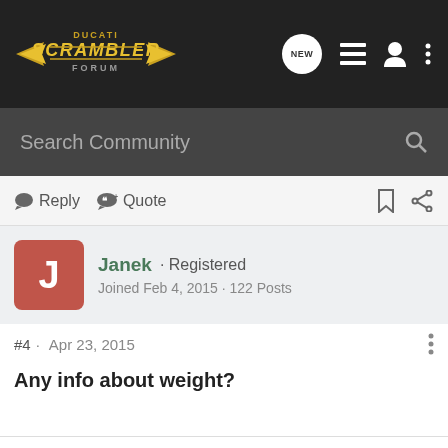Ducati Scrambler Forum
Search Community
Reply  Quote
Janek · Registered
Joined Feb 4, 2015 · 122 Posts
#4 · Apr 23, 2015
Any info about weight?
Janek